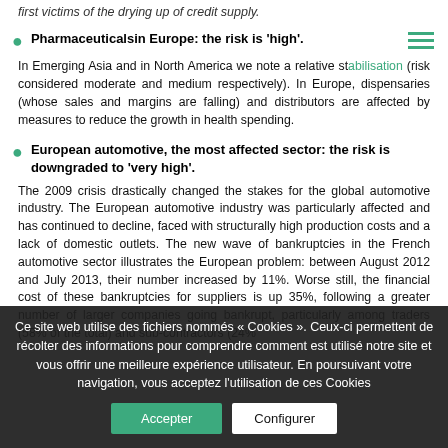first victims of the drying up of credit supply.
Pharmaceuticalsin Europe: the risk is 'high'.
In Emerging Asia and in North America we note a relative stabilisation (risk considered moderate and medium respectively). In Europe, dispensaries (whose sales and margins are falling) and distributors are affected by measures to reduce the growth in health spending.
European automotive, the most affected sector: the risk is downgraded to 'very high'.
The 2009 crisis drastically changed the stakes for the global automotive industry. The European automotive industry was particularly affected and has continued to decline, faced with structurally high production costs and a lack of domestic outlets. The new wave of bankruptcies in the French automotive sector illustrates the European problem: between August 2012 and July 2013, their number increased by 11%. Worse still, the financial cost of these bankruptcies for suppliers is up 35%, following a greater number of larger companies going bankrupt, particularly among traders (58% of the total) and sub-contractors (24%
Ce site web utilise des fichiers nommés « Cookies ». Ceux-ci permettent de récolter des informations pour comprendre comment est utilisé notre site et vous offrir une meilleure expérience utilisateur. En poursuivant votre navigation, vous acceptez l'utilisation de ces Cookies